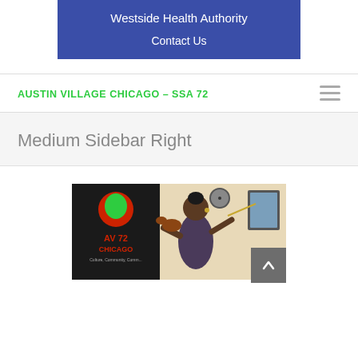Westside Health Authority
Contact Us
AUSTIN VILLAGE CHICAGO – SSA 72
Medium Sidebar Right
[Figure (photo): A young woman playing violin in front of a banner that reads 'AV 72 Chicago, Culture, Community, Comm...' The banner has a green and red gear/cog logo. A clock and framed picture are visible on the wall behind her.]